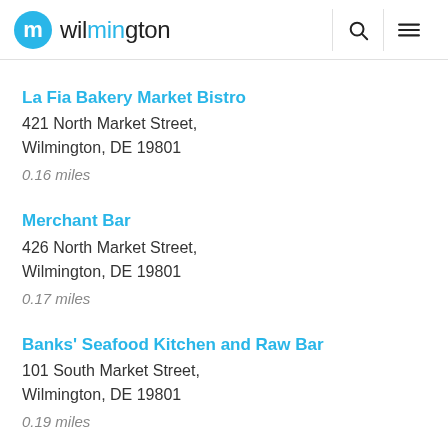m wilmington
La Fia Bakery Market Bistro
421 North Market Street, Wilmington, DE 19801
0.16 miles
Merchant Bar
426 North Market Street, Wilmington, DE 19801
0.17 miles
Banks' Seafood Kitchen and Raw Bar
101 South Market Street, Wilmington, DE 19801
0.19 miles
Docklands Riverfront
110 South West Street,